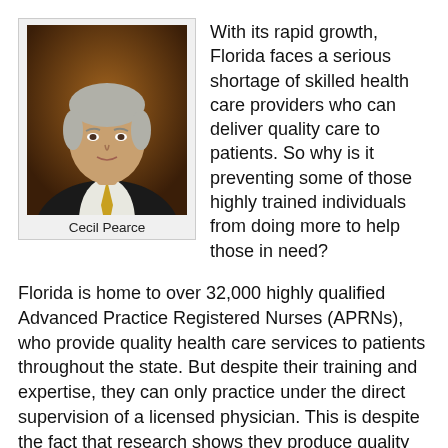[Figure (photo): Portrait photo of Cecil Pearce, a man in a dark suit with a yellow tie, with caption 'Cecil Pearce' below]
With its rapid growth, Florida faces a serious shortage of skilled health care providers who can deliver quality care to patients. So why is it preventing some of those highly trained individuals from doing more to help those in need?
Florida is home to over 32,000 highly qualified Advanced Practice Registered Nurses (APRNs), who provide quality health care services to patients throughout the state. But despite their training and expertise, they can only practice under the direct supervision of a licensed physician. This is despite the fact that research shows they produce quality results comparable to a supervising physician